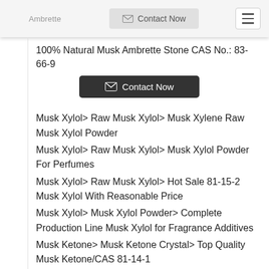Ambrette
Contact Now
100% Natural Musk Ambrette Stone CAS No.: 83-66-9
Contact Now
Musk Xylol> Raw Musk Xylol> Musk Xylene Raw Musk Xylol Powder
Musk Xylol> Raw Musk Xylol> Musk Xylol Powder For Perfumes
Musk Xylol> Raw Musk Xylol> Hot Sale 81-15-2 Musk Xylol With Reasonable Price
Musk Xylol> Musk Xylol Powder> Complete Production Line Musk Xylol for Fragrance Additives
Musk Ketone> Musk Ketone Crystal> Top Quality Musk Ketone/CAS 81-14-1